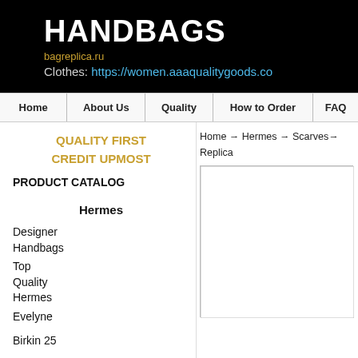HANDBAGS
bagreplica.ru
Clothes: https://women.aaaqualitygoods.co
Home | About Us | Quality | How to Order | FAQ
QUALITY FIRST
CREDIT UPMOST
PRODUCT CATALOG
Hermes
Designer Handbags
Top Quality Hermes
Evelyne
Birkin 25
Birkin 30
Home → Hermes → Scarves→ Replica